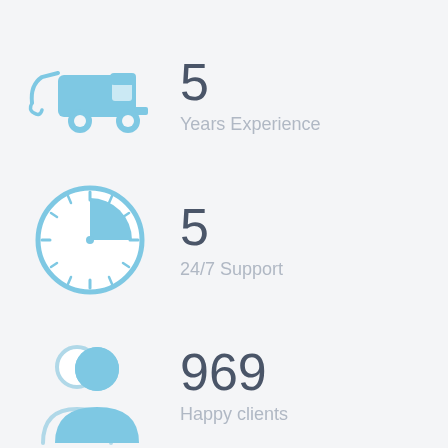[Figure (illustration): Tow truck icon in light blue]
5
Years Experience
[Figure (illustration): Clock icon in light blue with a pie-slice quarter filled]
5
24/7 Support
[Figure (illustration): Person/user icon in light blue with a shadow figure behind]
969
Happy clients